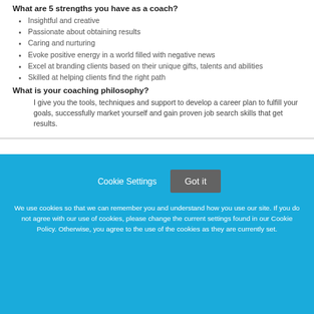What are 5 strengths you have as a coach?
Insightful and creative
Passionate about obtaining results
Caring and nurturing
Evoke positive energy in a world filled with negative news
Excel at branding clients based on their unique gifts, talents and abilities
Skilled at helping clients find the right path
What is your coaching philosophy?
I give you the tools, techniques and support to develop a career plan to fulfill your goals, successfully market yourself and gain proven job search skills that get results.
Cookie Settings
Got it
We use cookies so that we can remember you and understand how you use our site. If you do not agree with our use of cookies, please change the current settings found in our Cookie Policy. Otherwise, you agree to the use of the cookies as they are currently set.